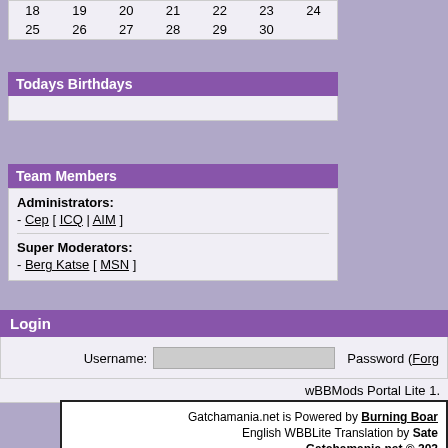| 18 | 19 | 20 | 21 | 22 | 23 | 24 |
| 25 | 26 | 27 | 28 | 29 | 30 |  |
Todays Birthdays
Team Members
Administrators:
- Cep [ ICQ | AIM ]
Super Moderators:
- Berg Katse [ MSN ]
Login
Username:    Password (Forg
wBBMods Portal Lite 1.
Gatchamania.net is Powered by Burning Boar
English WBBLite Translation by Sate
Gatchamania.net © 202

Tatsunoko Productions all rights to Kag
Sandy Frank Syndication (Battle of the Planets), Turner Br
Rider
This site is not endorsed or affiliated with any of these con
Please read the Rules a

This page was generated in 0.296 seconds (44.